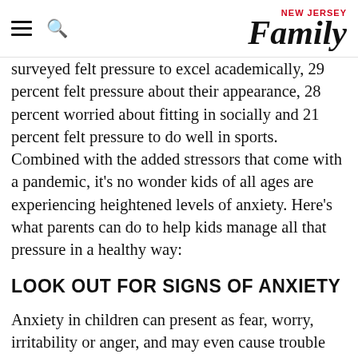NEW JERSEY Family
surveyed felt pressure to excel academically, 29 percent felt pressure about their appearance, 28 percent worried about fitting in socially and 21 percent felt pressure to do well in sports. Combined with the added stressors that come with a pandemic, it's no wonder kids of all ages are experiencing heightened levels of anxiety. Here's what parents can do to help kids manage all that pressure in a healthy way:
LOOK OUT FOR SIGNS OF ANXIETY
Anxiety in children can present as fear, worry, irritability or anger, and may even cause trouble sleeping, according to the Centers for Disease Control and Prevention. It can also cause physical symptoms such as headaches, stomachaches and fatigue. In children who internalize their anxiety, symptoms may